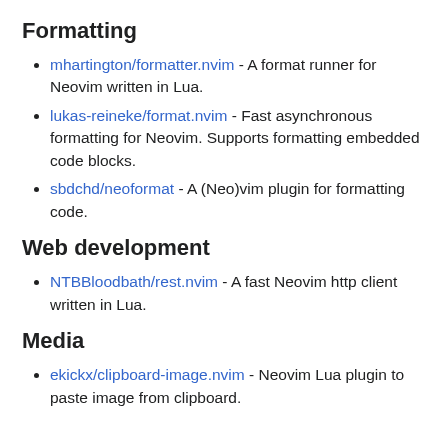Formatting
mhartington/formatter.nvim - A format runner for Neovim written in Lua.
lukas-reineke/format.nvim - Fast asynchronous formatting for Neovim. Supports formatting embedded code blocks.
sbdchd/neoformat - A (Neo)vim plugin for formatting code.
Web development
NTBBloodbath/rest.nvim - A fast Neovim http client written in Lua.
Media
ekickx/clipboard-image.nvim - Neovim Lua plugin to paste image from clipboard.